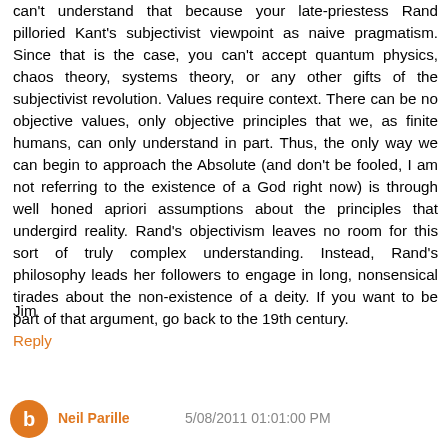can't understand that because your late-priestess Rand pilloried Kant's subjectivist viewpoint as naive pragmatism. Since that is the case, you can't accept quantum physics, chaos theory, systems theory, or any other gifts of the subjectivist revolution. Values require context. There can be no objective values, only objective principles that we, as finite humans, can only understand in part. Thus, the only way we can begin to approach the Absolute (and don't be fooled, I am not referring to the existence of a God right now) is through well honed apriori assumptions about the principles that undergird reality. Rand's objectivism leaves no room for this sort of truly complex understanding. Instead, Rand's philosophy leads her followers to engage in long, nonsensical tirades about the non-existence of a deity. If you want to be part of that argument, go back to the 19th century.
Jim
Reply
Neil Parille 5/08/2011 01:01:00 PM